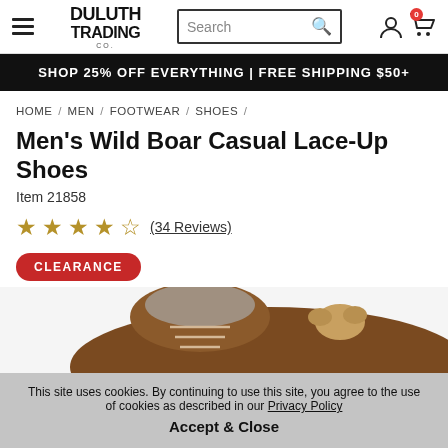Duluth Trading Co. — Search bar — Cart icon
SHOP 25% OFF EVERYTHING | FREE SHIPPING $50+
HOME / MEN / FOOTWEAR / SHOES /
Men's Wild Boar Casual Lace-Up Shoes
Item 21858
★★★★½ (34 Reviews)
CLEARANCE
[Figure (photo): Close-up photo of brown leather casual lace-up shoes with tan laces, partially cropped at the bottom of the page.]
This site uses cookies. By continuing to use this site, you agree to the use of cookies as described in our Privacy Policy. Accept & Close